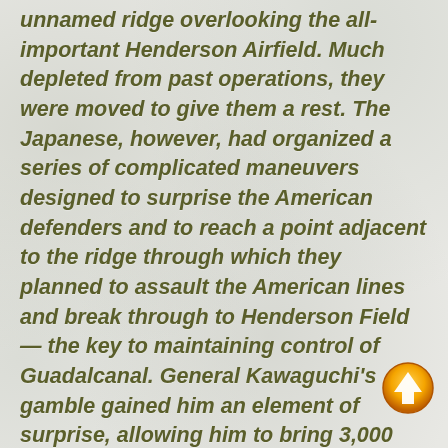unnamed ridge overlooking the all-important Henderson Airfield. Much depleted from past operations, they were moved to give them a rest. The Japanese, however, had organized a series of complicated maneuvers designed to surprise the American defenders and to reach a point adjacent to the ridge through which they planned to assault the American lines and break through to Henderson Field — the key to maintaining control of Guadalcanal. General Kawaguchi's gamble gained him an element of surprise, allowing him to bring 3,000 soldiers against the 800 Marines occupying the ridge. But these Marines were some of the best and toughest on the island and were determined not to retreat.